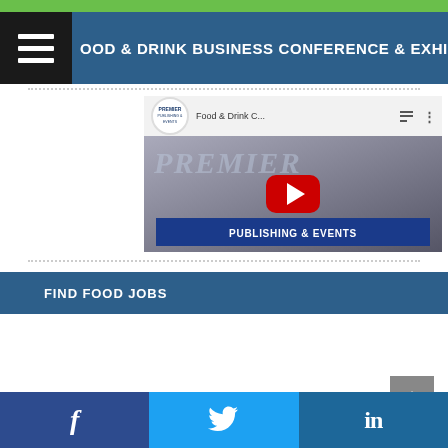[Figure (screenshot): Green top banner of a website]
OOD & DRINK BUSINESS CONFERENCE & EXHIBITION 2016
[Figure (screenshot): YouTube video thumbnail for Food & Drink Conference, Premier Publishing & Events logo with red YouTube play button]
FIND FOOD JOBS
[Figure (screenshot): Social media share buttons: Facebook (f), Twitter (bird), LinkedIn (in)]